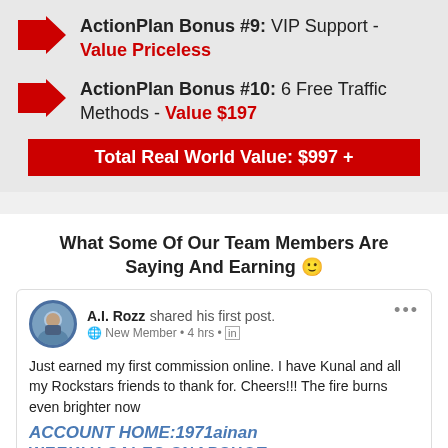ActionPlan Bonus #9: VIP Support - Value Priceless
ActionPlan Bonus #10: 6 Free Traffic Methods - Value $197
Total Real World Value: $997 +
What Some Of Our Team Members Are Saying And Earning 🙂
[Figure (screenshot): Facebook post by A.I. Rozz sharing first post as New Member, 4 hrs ago. Text: Just earned my first commission online. I have Kunal and all my Rockstars friends to thank for. Cheers!!! The fire burns even brighter now. Account Home: 1971ainan. Weekly Sales Snapshot shown below.]